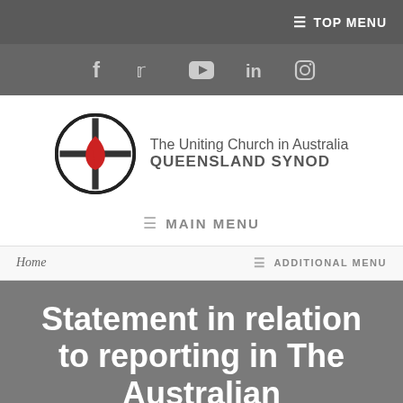≡ TOP MENU
[Figure (infographic): Social media icons bar: Facebook (f), Twitter (bird), YouTube (play button), LinkedIn (in), Instagram (camera/circle)]
[Figure (logo): The Uniting Church in Australia Queensland Synod circular logo with cross and flame symbol]
The Uniting Church in Australia QUEENSLAND SYNOD
≡ MAIN MENU
Home
≡ ADDITIONAL MENU
Statement in relation to reporting in The Australian